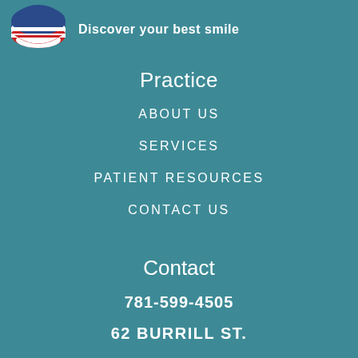[Figure (logo): Circular logo with American flag colors (red, white, blue) shaped like a smile/dental logo]
Discover your best smile
Practice
ABOUT US
SERVICES
PATIENT RESOURCES
CONTACT US
Contact
781-599-4505
62 BURRILL ST.